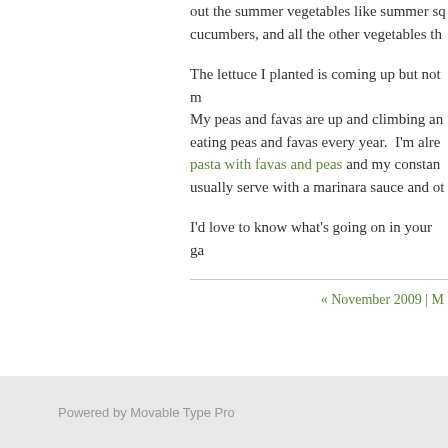out the summer vegetables like summer sq cucumbers, and all the other vegetables th
The lettuce I planted is coming up but not m My peas and favas are up and climbing an eating peas and favas every year. I'm alre pasta with favas and peas and my constan usually serve with a marinara sauce and ot
I'd love to know what's going on in your ga
« November 2009 | M
Powered by Movable Type Pro